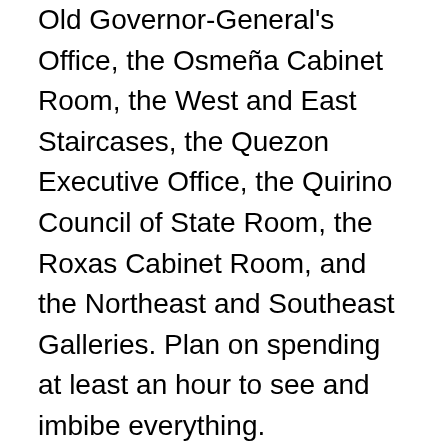Old Governor-General's Office, the Osmeña Cabinet Room, the West and East Staircases, the Quezon Executive Office, the Quirino Council of State Room, the Roxas Cabinet Room, and the Northeast and Southeast Galleries. Plan on spending at least an hour to see and imbibe everything.
What most Filipinos (including many of us) don't know is that tours of the Presidential Museum and Library are available for a minimal fee to individuals or groups who make the necessary arrangements beforehand. (Call 784-4286 local 4945 or email pml@malacanang.gov.ph for details.) The entrance is through Gate 6, and parking can be had at the Freedom Park just outside the gates.
Another exhibit that I made a point of looking into was one at the Cultural Center of the Philippines Main Gallery, titled "ReCollection 1981: Clear and Present Danger (Visual...